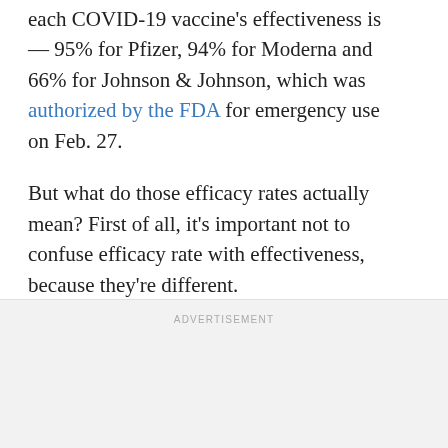each COVID-19 vaccine's effectiveness is — 95% for Pfizer, 94% for Moderna and 66% for Johnson & Johnson, which was authorized by the FDA for emergency use on Feb. 27.
But what do those efficacy rates actually mean? First of all, it's important not to confuse efficacy rate with effectiveness, because they're different.
ADVERTISEMENT